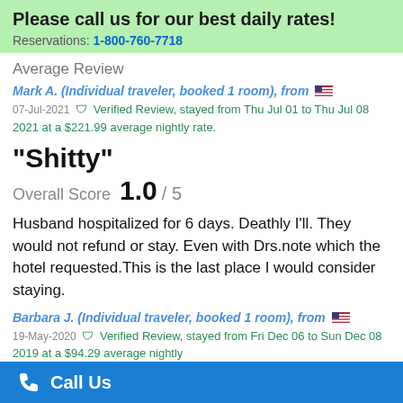Please call us for our best daily rates!
Reservations: 1-800-760-7718
Average Review
Mark A. (Individual traveler, booked 1 room), from 🇺🇸
07-Jul-2021 ✔ Verified Review, stayed from Thu Jul 01 to Thu Jul 08 2021 at a $221.99 average nightly rate.
"Shitty"
Overall Score  1.0 / 5
Husband hospitalized for 6 days. Deathly I'll. They would not refund or stay. Even with Drs.note which the hotel requested.This is the last place I would consider staying.
Barbara J. (Individual traveler, booked 1 room), from 🇺🇸
19-May-2020 ✔ Verified Review, stayed from Fri Dec 06 to Sun Dec 08 2019 at a $94.29 average nightly
Call Us